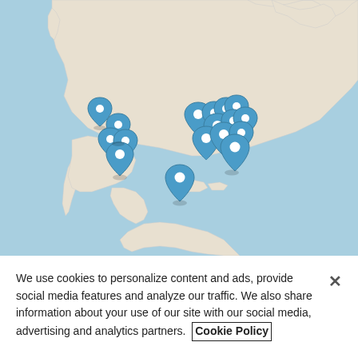[Figure (map): World map (Americas focused) with multiple blue location pin markers clustered in western North America, central-eastern USA, and Central America regions. Map has light beige land and blue ocean coloring.]
We use cookies to personalize content and ads, provide social media features and analyze our traffic. We also share information about your use of our site with our social media, advertising and analytics partners. Cookie Policy